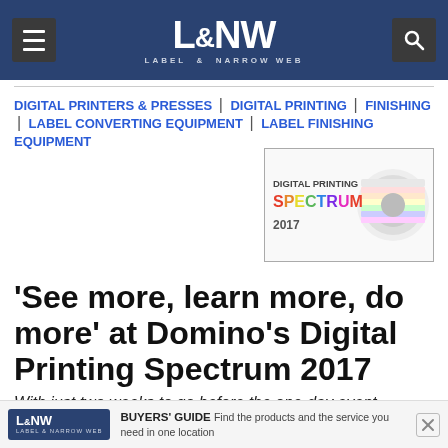L&NW LABEL & NARROW WEB
DIGITAL PRINTERS & PRESSES | DIGITAL PRINTING | FINISHING | LABEL CONVERTING EQUIPMENT | LABEL FINISHING EQUIPMENT
[Figure (logo): Digital Printing Spectrum 2017 logo with colorful text and a roll of label material]
'See more, learn more, do more' at Domino's Digital Printing Spectrum 2017
With just two weeks to go before the one-day event, Domino encourages those that have not already done so to register today.
L&NW BUYERS' GUIDE Find the products and the service you need in one location